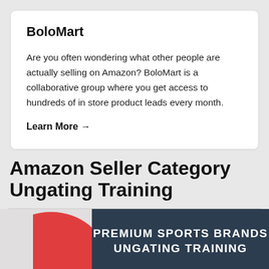BoloMart
Are you often wondering what other people are actually selling on Amazon? BoloMart is a collaborative group where you get access to hundreds of in store product leads every month.
Learn More →
Amazon Seller Category Ungating Training
[Figure (illustration): Promotional image showing a red item on the left and a dark navy/teal overlay panel on the right with bold white uppercase text reading 'PREMIUM SPORTS BRANDS UNGATING TRAINING']